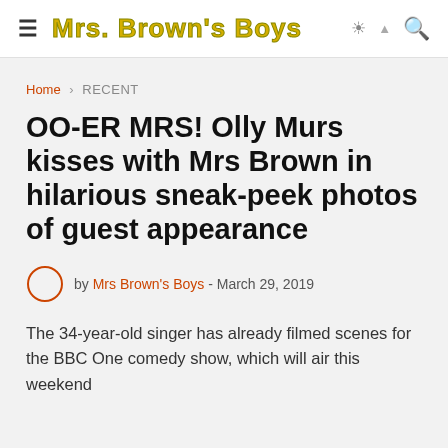≡ Mrs. Brown's Boys 🔆 🔍
Home › RECENT
OO-ER MRS! Olly Murs kisses with Mrs Brown in hilarious sneak-peek photos of guest appearance
by Mrs Brown's Boys - March 29, 2019
The 34-year-old singer has already filmed scenes for the BBC One comedy show, which will air this weekend